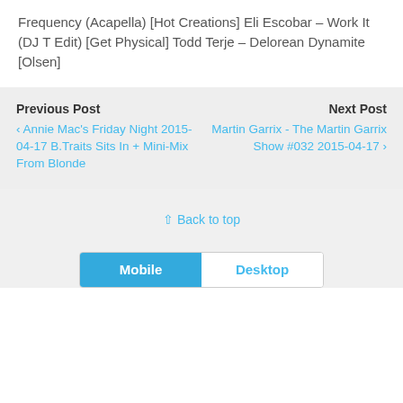Frequency (Acapella) [Hot Creations] Eli Escobar – Work It (DJ T Edit) [Get Physical] Todd Terje – Delorean Dynamite [Olsen]
Previous Post
‹ Annie Mac's Friday Night 2015-04-17 B.Traits Sits In + Mini-Mix From Blonde
Next Post
Martin Garrix - The Martin Garrix Show #032 2015-04-17 ›
⇧ Back to top
Mobile   Desktop